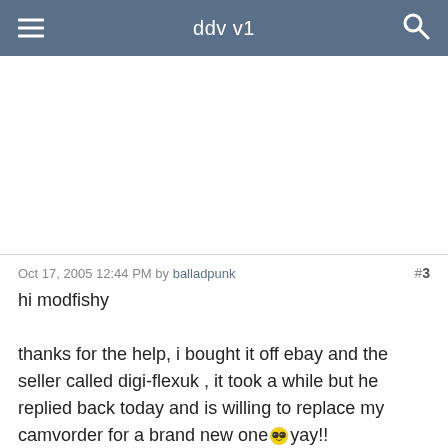ddv v1
[Figure (other): Large blank white advertisement/content area]
Oct 17, 2005 12:44 PM by balladpunk  #3
hi modfishy

thanks for the help, i bought it off ebay and the seller called digi-flexuk , it took a while but he replied back today and is willing to replace my camvorder for a brand new one 😎 yay!!